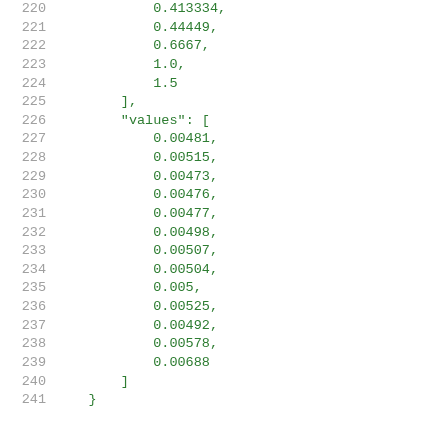220   0.413334,
221       0.44449,
222       0.6667,
223       1.0,
224       1.5
225     ],
226     "values": [
227         0.00481,
228         0.00515,
229         0.00473,
230         0.00476,
231         0.00477,
232         0.00498,
233         0.00507,
234         0.00504,
235         0.005,
236         0.00525,
237         0.00492,
238         0.00578,
239         0.00688
240     ]
241   }